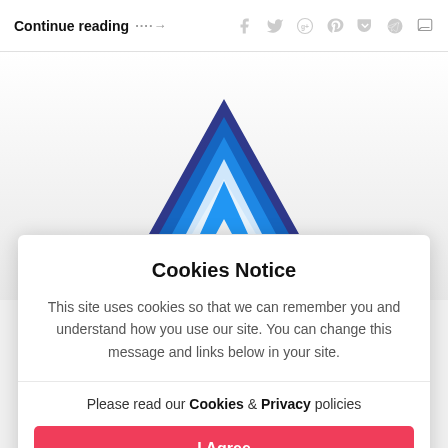Continue reading …→
[Figure (logo): Angular/triangular logo with layered blue chevron/arrow shape pointing upward]
Cookies Notice
This site uses cookies so that we can remember you and understand how you use our site. You can change this message and links below in your site.
Please read our Cookies & Privacy policies
I Agree